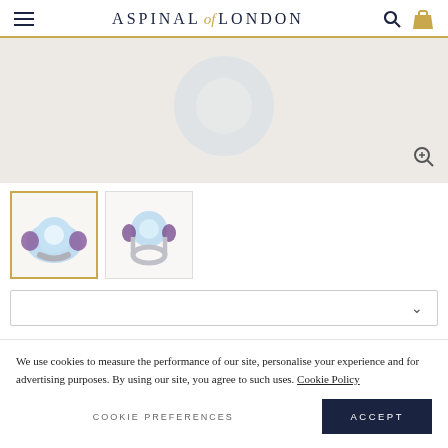Aspinal of London
[Figure (photo): Main product image area showing a blue topaz and amethyst ring on a light grey background]
[Figure (photo): Thumbnail 1 (active/selected): Front view of blue topaz ring with purple amethyst side stones on white background with gold border]
[Figure (photo): Thumbnail 2: Side view of blue topaz ring with purple amethyst side stones on white background]
We use cookies to measure the performance of our site, personalise your experience and for advertising purposes. By using our site, you agree to such uses. Cookie Policy
COOKIE PREFERENCES
ACCEPT